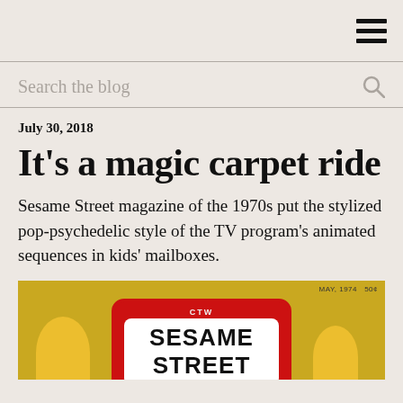Search the blog
July 30, 2018
It's a magic carpet ride
Sesame Street magazine of the 1970s put the stylized pop-psychedelic style of the TV program's animated sequences in kids' mailboxes.
[Figure (photo): Sesame Street magazine cover from May 1974, priced at 50 cents, featuring the Sesame Street sign with CTW branding on a gold/yellow background]